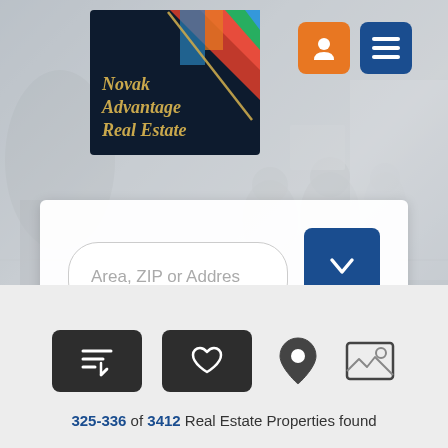[Figure (screenshot): Website screenshot of Novak Advantage Real Estate property search page showing logo, navigation icons, hero background photo of people in a room, search bar with 'Area, ZIP or Addres' placeholder, Refine button, sort/favorite/map/photo view icons, and results count text.]
Area, ZIP or Addres
Refine
325-336 of 3412 Real Estate Properties found